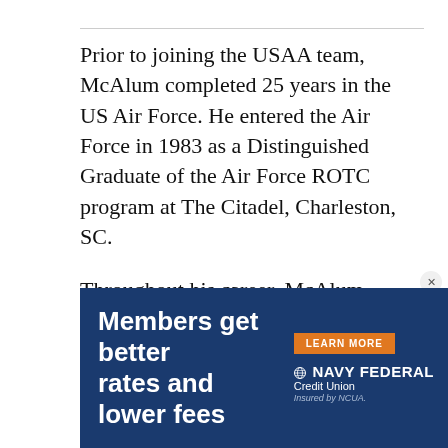Prior to joining the USAA team, McAlum completed 25 years in the US Air Force. He entered the Air Force in 1983 as a Distinguished Graduate of the Air Force ROTC program at The Citadel, Charleston, SC.
Throughout his career, McAlum worked in a variety of staff and leadership positions in the information technology career field.
[Figure (other): Navy Federal Credit Union advertisement banner with blue background. Text: 'Members get better rates and lower fees'. 'LEARN MORE' button in orange. Navy Federal Credit Union logo with globe icon. 'Insured by NCUA.' text at bottom.]